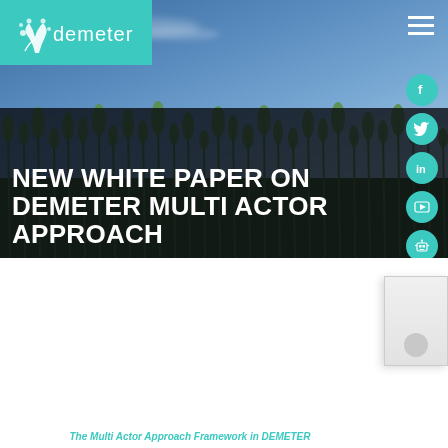[Figure (screenshot): Hero banner image with teal Demeter logo in top-left, agricultural field with crops and blue sky background, dark overlay on lower portion, hamburger menu icon top-right, social media icons (Facebook, Twitter, LinkedIn, YouTube, robot/bot) on right side]
NEW WHITE PAPER ON DEMETER MULTI ACTOR APPROACH
The Multi Actor Approach Framework in DEMETER